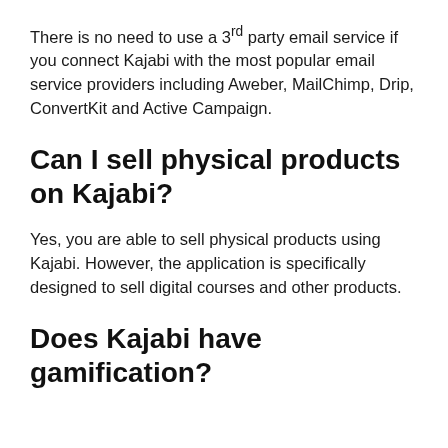There is no need to use a 3rd party email service if you connect Kajabi with the most popular email service providers including Aweber, MailChimp, Drip, ConvertKit and Active Campaign.
Can I sell physical products on Kajabi?
Yes, you are able to sell physical products using Kajabi. However, the application is specifically designed to sell digital courses and other products.
Does Kajabi have gamification?